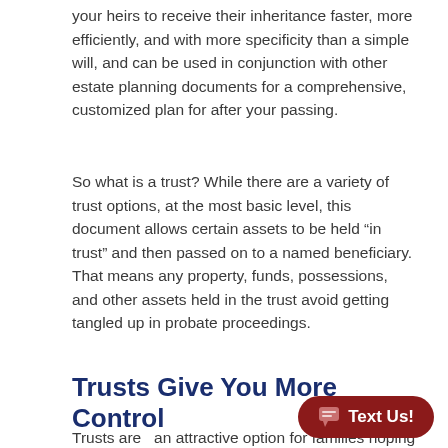your heirs to receive their inheritance faster, more efficiently, and with more specificity than a simple will, and can be used in conjunction with other estate planning documents for a comprehensive, customized plan for after your passing.
So what is a trust? While there are a variety of trust options, at the most basic level, this document allows certain assets to be held “in trust” and then passed on to a named beneficiary. That means any property, funds, possessions, and other assets held in the trust avoid getting tangled up in probate proceedings.
Trusts Give You More Control
Trusts are  an attractive option for families hoping